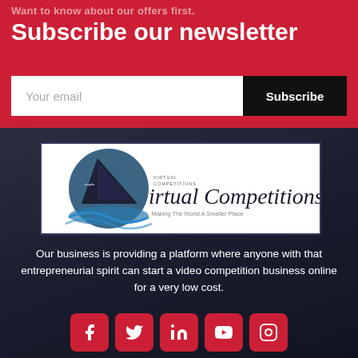Want to know about our offers first.
Subscribe our newsletter
Your email
Subscribe
[Figure (logo): Virtual Competitions logo with tagline 'Making The World A Smaller Place']
Our business is providing a platform where anyone with that entrepreneurial spirit can start a video competition business online for a very low cost.
[Figure (infographic): Social media icons row: Facebook, Twitter, LinkedIn, YouTube, Instagram — all red rounded square buttons]